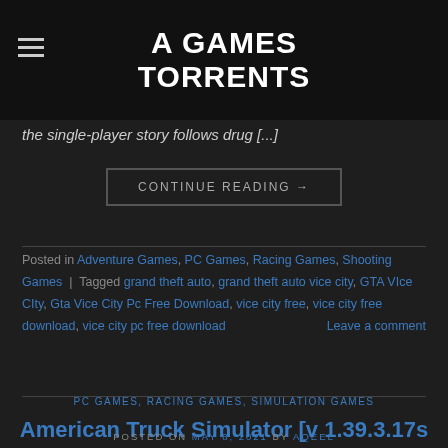A GAMES TORRENTS
the single-player story follows drug [...]
CONTINUE READING →
Posted in Adventure Games, PC Games, Racing Games, Shooting Games | Tagged grand theft auto, grand theft auto vice city, GTA VIce CIty, Gta Vice City Pc Free Download, vice city free, vice city free download, vice city pc free download  Leave a comment
PC GAMES, RACING GAMES, SIMULATION GAMES
American Truck Simulator [v 1.39.3.17s + DLC] Torrent download
POSTED ON MAY 8, 2021 BY AQEEL